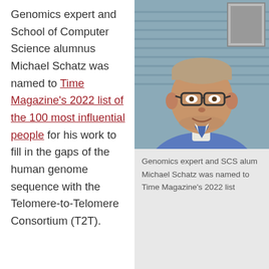Genomics expert and School of Computer Science alumnus Michael Schatz was named to Time Magazine's 2022 list of the 100 most influential people for his work to fill in the gaps of the human genome sequence with the Telomere-to-Telomere Consortium (T2T).
[Figure (photo): Portrait photo of Michael Schatz, a middle-aged man with glasses, grey-blond hair, wearing a blue v-neck sweater over a white shirt, smiling, with a light blue/grey background.]
Genomics expert and SCS alum Michael Schatz was named to Time Magazine's 2022 list